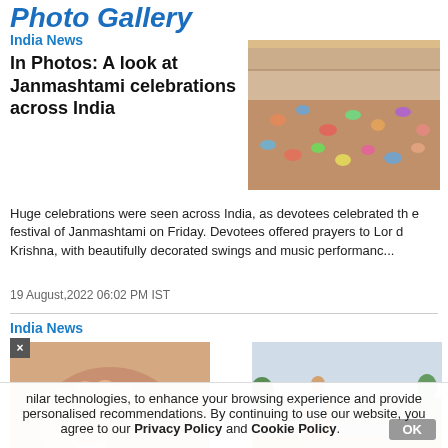Photo Gallery
India News
In Photos: A look at Janmashtami celebrations across India
[Figure (photo): Aerial view of large crowd gathered at a venue for Janmashtami celebrations, with colorful decorations visible]
Huge celebrations were seen across India, as devotees celebrated the festival of Janmashtami on Friday. Devotees offered prayers to Lord Krishna, with beautifully decorated swings and music performanc...
19 August,2022 06:02 PM IST
India News
[Figure (photo): Close-up of baby feet with a silver ring/anklet]
[Figure (photo): Person speaking at a podium at a large outdoor event with crowds and colorful decorations in background]
nilar technologies, to enhance your browsing experience and provide personalised recommendations. By continuing to use our website, you agree to our Privacy Policy and Cookie Policy.